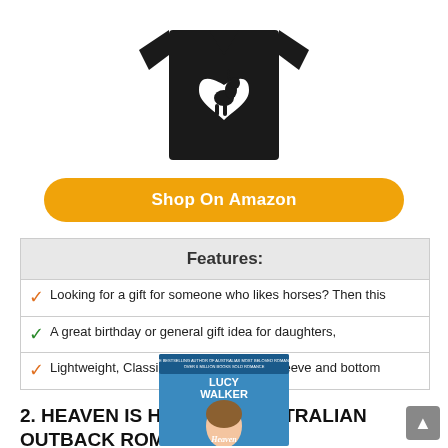[Figure (photo): Black t-shirt with white horse silhouette inside a heart shape]
Shop On Amazon
| Features: |
| --- |
| Looking for a gift for someone who likes horses? Then this |
| A great birthday or general gift idea for daughters, |
| Lightweight, Classic fit, Double-needle sleeve and bottom |
2. HEAVEN IS HERE: AN AUSTRALIAN OUTBACK ROMANCE
[Figure (photo): Book cover: Heaven Is Here by Lucy Walker, Australian Outback Romance]